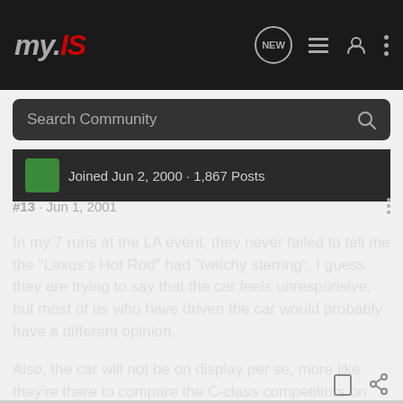my.IS
Search Community
Joined Jun 2, 2000 · 1,867 Posts
#13 · Jun 1, 2001
In my 7 runs at the LA event, they never failed to tell me the "Lexus's Hot Rod" had "twitchy sterring". I guess they are trying to say that the car feels unresponsive, but most of us who have driven the car would probably have a different opinion.
Also, the car will not be on display per se, more like they're there to compare the C-class competitiors on their track. Think Go carts.... Hope you guys have fun